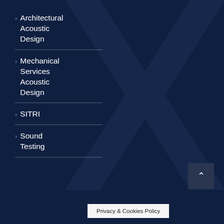> Architectural Acoustic Design
> Mechanical Services Acoustic Design
> SITRI
> Sound Testing
[Figure (logo): Large stylized X logo watermark in dark navy blue]
Privacy & Cookies Policy